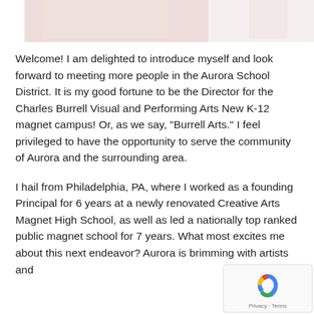[Figure (photo): Partial banner image strip at the top of the page showing blurred/abstract pink and white tones, likely a decorative header image.]
Welcome! I am delighted to introduce myself and look forward to meeting more people in the Aurora School District. It is my good fortune to be the Director for the Charles Burrell Visual and Performing Arts New K-12 magnet campus! Or, as we say, “Burrell Arts.” I feel privileged to have the opportunity to serve the community of Aurora and the surrounding area.
I hail from Philadelphia, PA, where I worked as a founding Principal for 6 years at a newly renovated Creative Arts Magnet High School, as well as led a nationally top ranked public magnet school for 7 years. What most excites me about this next endeavor? Aurora is brimming with artists and